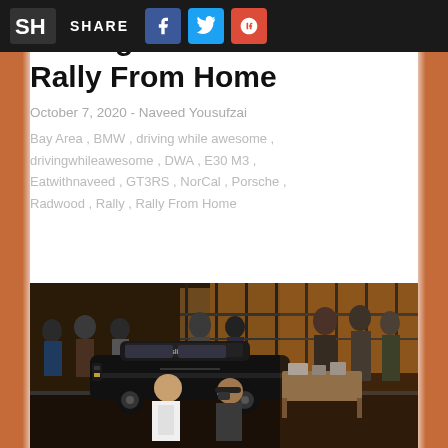SHARE
Driving While Awesome: Rally From Home
October 7, 2020 - Naveed Yousufzai
Bay Area , BMW , driving while awesome , drivingwhileawesome , DWA , E30 M3 , Eatwithnaveed , GT3RS , NorCal , Porsche , Radwood , Rally , Rally From Home
[Figure (photo): People gathered around a classic rally car (BMW) with 'Slipside' windshield banner at what appears to be a car show or rally event inside a building. Two people in foreground looking at camera.]